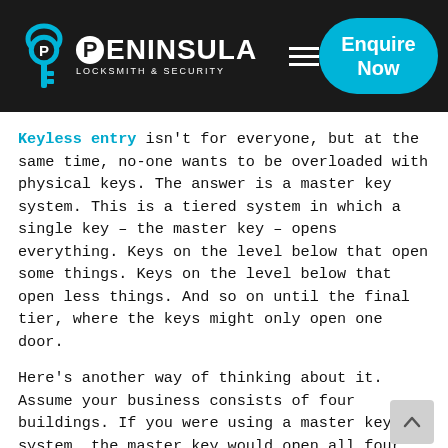[Figure (logo): Peninsula Locksmith & Security logo with key icon, hamburger menu icon, and cyan 'Enquire Now' button on dark background header]
Keyless entry isn't for everyone, but at the same time, no-one wants to be overloaded with physical keys. The answer is a master key system. This is a tiered system in which a single key – the master key – opens everything. Keys on the level below that open some things. Keys on the level below that open less things. And so on until the final tier, where the keys might only open one door.
Here's another way of thinking about it. Assume your business consists of four buildings. If you were using a master key system, the master key would open all four buildings and everything in them. Keys on the next tier might open only one building, but all of the rooms within it. Keys on the third tier might only open a room or two within a single building. There